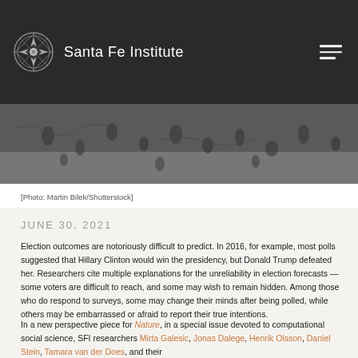Santa Fe Institute
[Figure (photo): Aerial black and white photo of people walking, viewed from above]
[Photo: Martin Bilek/Shutterstock]
JUNE 30, 2021
Election outcomes are notoriously difficult to predict. In 2016, for example, most polls suggested that Hillary Clinton would win the presidency, but Donald Trump defeated her. Researchers cite multiple explanations for the unreliability in election forecasts —  some voters are difficult to reach, and some may wish to remain hidden. Among those who do respond to surveys, some may change their minds after being polled, while others may be embarrassed or afraid to report their true intentions.
In a new perspective piece for Nature, in a special issue devoted to computational social science, SFI researchers Mirta Galesic, Jonas Dalege, Henrik Olsson, Daniel Stein, Tamara van der Does, and their